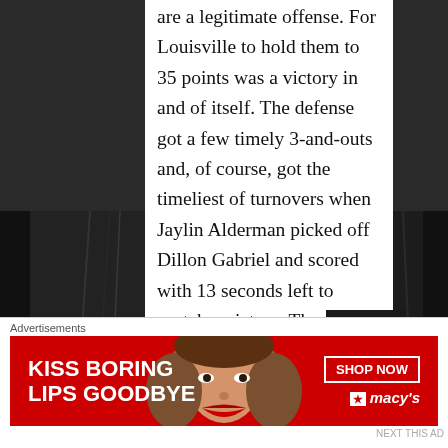are a legitimate offense. For Louisville to hold them to 35 points was a victory in and of itself. The defense got a few timely 3-and-outs and, of course, got the timeliest of turnovers when Jaylin Alderman picked off Dillon Gabriel and scored with 13 seconds left to snatch a victory. The defensive line was able to get some pressure on Gabriel, they were able (with a few exceptions) to contain the UCF run game, and they were able to make read-and-react plays that blew up...
Advertisements
[Figure (photo): Macy's advertisement banner: 'KISS BORING LIPS GOODBYE' with a woman's face and red lipstick, SHOP NOW button and Macy's logo]